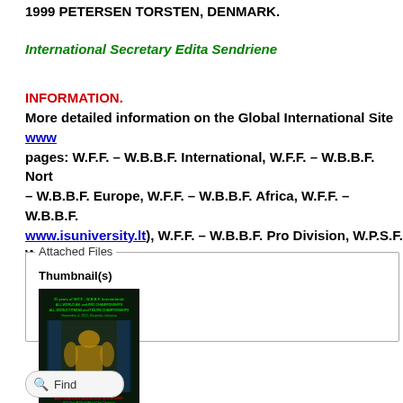1999 PETERSEN TORSTEN, DENMARK.
International Secretary Edita Sendriene
INFORMATION.
More detailed information on the Global International Site www... pages: W.F.F. – W.B.B.F. International, W.F.F. – W.B.B.F. North... – W.B.B.F. Europe, W.F.F. – W.B.B.F. Africa, W.F.F. – W.B.B.F.... www.isuniversity.lt), W.F.F. – W.B.B.F. Pro Division, W.P.S.F. W...
Attached Files
Thumbnail(s)
[Figure (photo): Thumbnail image of a bodybuilding championship poster with dark background and text about W.F.F. – W.B.B.F. International championships]
Find